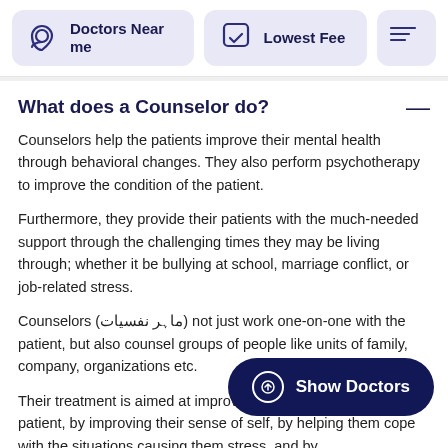Doctors Near me | Lowest Fee
What does a Counselor do?
Counselors help the patients improve their mental health through behavioral changes. They also perform psychotherapy to improve the condition of the patient.
Furthermore, they provide their patients with the much-needed support through the challenging times they may be living through; whether it be bullying at school, marriage conflict, or job-related stress.
Counselors (ماہر نفسیات) not just work one-on-one with the patient, but also counsel groups of people like units of family, company, organizations etc.
Their treatment is aimed at improving the wellbeing of the patient, by improving their sense of self, by helping them cope with the situations causing them stress, and by